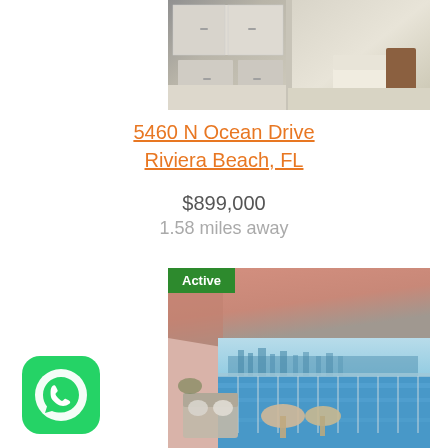[Figure (photo): Interior photo of a kitchen and living area with light wood floors, white cabinets, and a sofa visible in the background]
5460 N Ocean Drive
Riviera Beach, FL
$899,000
1.58 miles away
[Figure (photo): Photo of a balcony with view of water and city skyline, with patio furniture including a sofa and round table, Active badge overlay]
[Figure (logo): WhatsApp app icon - green rounded square with white phone/chat bubble logo]